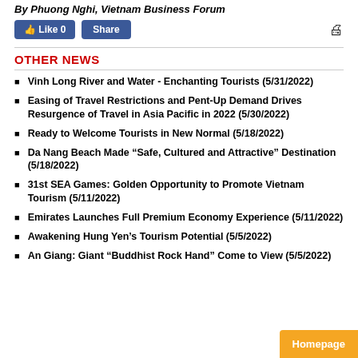By Phuong Nghi, Vietnam Business Forum
Vinh Long River and Water - Enchanting Tourists (5/31/2022)
Easing of Travel Restrictions and Pent-Up Demand Drives Resurgence of Travel in Asia Pacific in 2022 (5/30/2022)
Ready to Welcome Tourists in New Normal (5/18/2022)
Da Nang Beach Made “Safe, Cultured and Attractive” Destination (5/18/2022)
31st SEA Games: Golden Opportunity to Promote Vietnam Tourism (5/11/2022)
Emirates Launches Full Premium Economy Experience (5/11/2022)
Awakening Hung Yen’s Tourism Potential (5/5/2022)
An Giang: Giant “Buddhist Rock Hand” Come to View (5/5/2022)